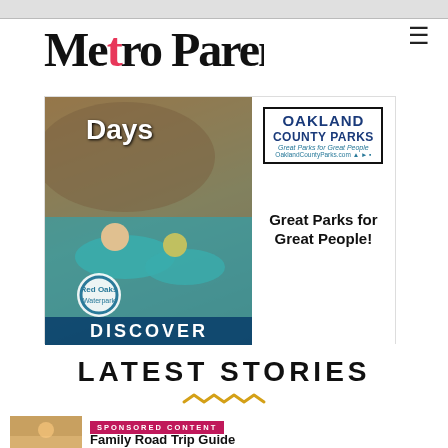[Figure (logo): Metro Parent logo with pink dot in letter 'o']
[Figure (photo): Oakland County Parks advertisement featuring Red Oaks Waterpark with people on inner tubes; text reads 'Days', 'DISCOVER', 'Red Oaks Waterpark', 'OAKLAND COUNTY PARKS', 'Great Parks for Great People', 'OaklandCountyParks.com']
LATEST STORIES
SPONSORED CONTENT
Family Road Trip Guide